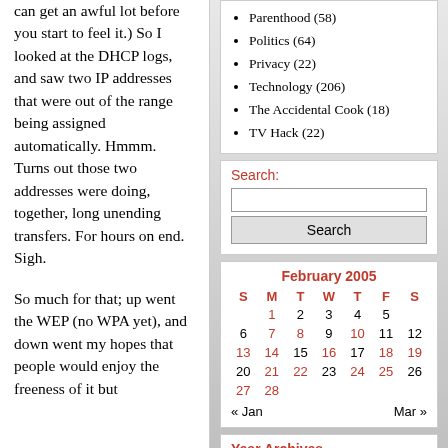can get an awful lot before you start to feel it.) So I looked at the DHCP logs, and saw two IP addresses that were out of the range being assigned automatically. Hmmm. Turns out those two addresses were doing, together, long unending transfers. For hours on end. Sigh.
So much for that; up went the WEP (no WPA yet), and down went my hopes that people would enjoy the freeness of it but
Parenthood (58)
Politics (64)
Privacy (22)
Technology (206)
The Accidental Cook (18)
TV Hack (22)
Search:
[Figure (other): Search input field and button]
February 2005
| S | M | T | W | T | F | S |
| --- | --- | --- | --- | --- | --- | --- |
|  | 1 | 2 | 3 | 4 | 5 |  |
| 6 | 7 | 8 | 9 | 10 | 11 | 12 |
| 13 | 14 | 15 | 16 | 17 | 18 | 19 |
| 20 | 21 | 22 | 23 | 24 | 25 | 26 |
| 27 | 28 |  |  |  |  |  |
« Jan   Mar »
Year Archives